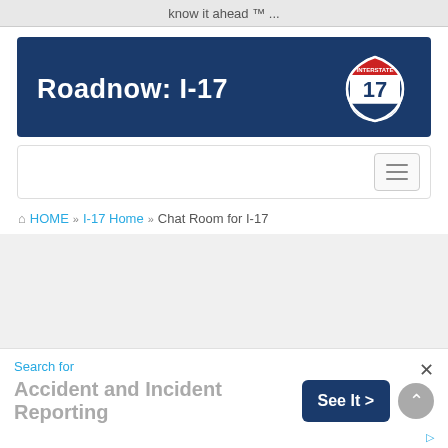know it ahead ™ ...
[Figure (logo): Roadnow: I-17 banner with dark blue background, white bold text reading 'Roadnow: I-17' and an Interstate 17 highway shield icon on the right]
[Figure (screenshot): Navigation bar with hamburger menu icon on the right]
HOME » I-17 Home » Chat Room for I-17
Search for
Accident and Incident Reporting
[Figure (screenshot): See It > button in dark blue]